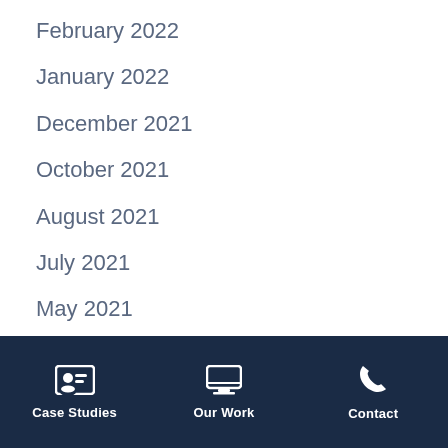February 2022
January 2022
December 2021
October 2021
August 2021
July 2021
May 2021
April 2021
March 2021
Case Studies | Our Work | Contact